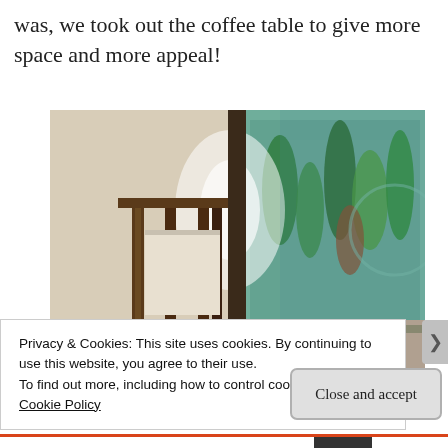was, we took out the coffee table to give more space and more appeal!
[Figure (photo): Interior photo showing a room with ornate twisted wooden table/chair legs on the left side and a large glass aquarium or water feature filled with green aquatic plants on the right side. The floor appears to have gravel/pebble texture in the foreground.]
Privacy & Cookies: This site uses cookies. By continuing to use this website, you agree to their use.
To find out more, including how to control cookies, see here: Cookie Policy
Close and accept